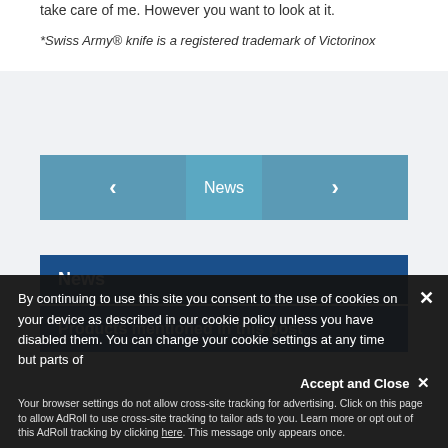take care of me. However you want to look at it.
*Swiss Army® knife is a registered trademark of Victorinox
[Figure (screenshot): Navigation bar with left arrow, 'News' center label, and right arrow, teal/steel blue background]
News
Products mentioned in this post
By continuing to use this site you consent to the use of cookies on your device as described in our cookie policy unless you have disabled them. You can change your cookie settings at any time but parts of our site will not function correctly without them.
Your browser settings do not allow cross-site tracking for advertising. Click on this page to allow AdRoll to use cross-site tracking to tailor ads to you. Learn more or opt out of this AdRoll tracking by clicking here. This message only appears once.